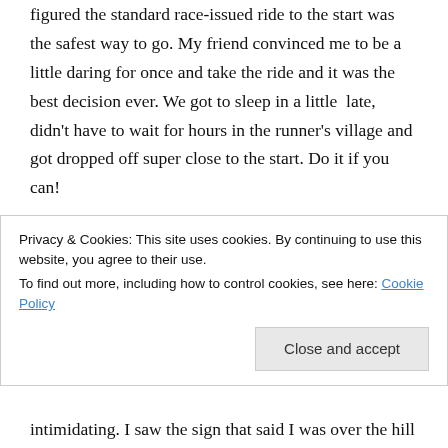figured the standard race-issued ride to the start was the safest way to go. My friend convinced me to be a little daring for once and take the ride and it was the best decision ever. We got to sleep in a little  late, didn't have to wait for hours in the runner's village and got dropped off super close to the start. Do it if you can!
I've never been so cramped running – I mean as in having people around me at ALL times. All my other marathons have been pretty small – 2,000 runners or less – so the amount of runners kind of overwhelmed
Privacy & Cookies: This site uses cookies. By continuing to use this website, you agree to their use. To find out more, including how to control cookies, see here: Cookie Policy
intimidating. I saw the sign that said I was over the hill